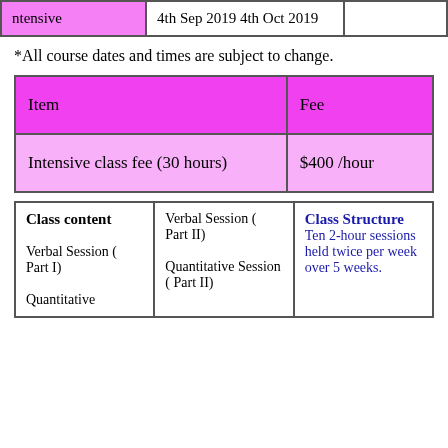|  | Date |  |
| --- | --- | --- |
| Intensive | 4th Sep 2019 4th Oct 2019 |  |
*All course dates and times are subject to change.
| Item | Fee |
| --- | --- |
| Intensive class fee (30 hours) | $400 /hour |
| Class content |  | Class Structure |
| --- | --- | --- |
| Verbal Session ( Part I)

Quantitative | Verbal Session ( Part II)

Quantitative Session ( Part II) | Ten 2-hour sessions held twice per week over 5 weeks. |